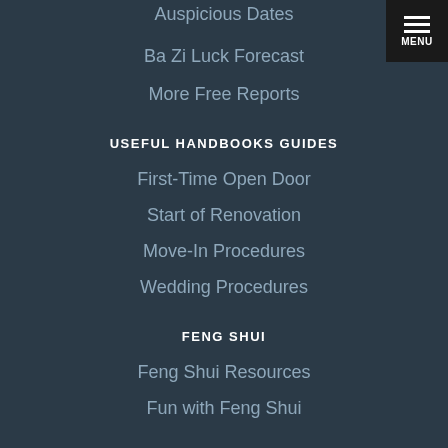Auspicious Dates
Ba Zi Luck Forecast
More Free Reports
USEFUL HANDBOOKS GUIDES
First-Time Open Door
Start of Renovation
Move-In Procedures
Wedding Procedures
FENG SHUI
Feng Shui Resources
Fun with Feng Shui
[Figure (screenshot): Menu button in top-right corner with hamburger icon and MENU label on dark background]